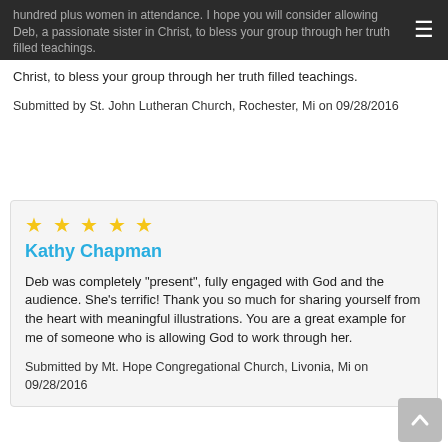hundred plus women in attendance. I hope you will consider allowing Deb, a passionate sister in Christ, to bless your group through her truth filled teachings.
Submitted by St. John Lutheran Church, Rochester, Mi on 09/28/2016
★★★★★
Kathy Chapman
Deb was completely "present", fully engaged with God and the audience. She's terrific! Thank you so much for sharing yourself from the heart with meaningful illustrations. You are a great example for me of someone who is allowing God to work through her.
Submitted by Mt. Hope Congregational Church, Livonia, Mi on 09/28/2016